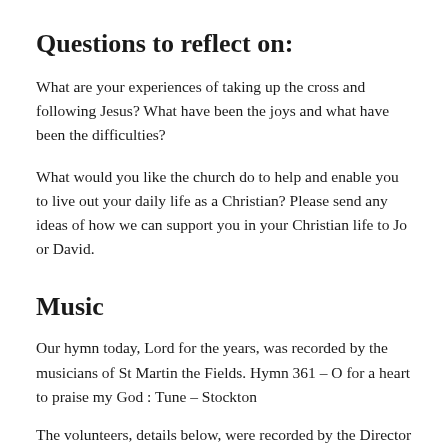Questions to reflect on:
What are your experiences of taking up the cross and following Jesus? What have been the joys and what have been the difficulties?
What would you like the church do to help and enable you to live out your daily life as a Christian? Please send any ideas of how we can support you in your Christian life to Jo or David.
Music
Our hymn today, Lord for the years, was recorded by the musicians of St Martin the Fields. Hymn 361 – O for a heart to praise my God : Tune – Stockton
The volunteers, details below, were recorded by the Director of